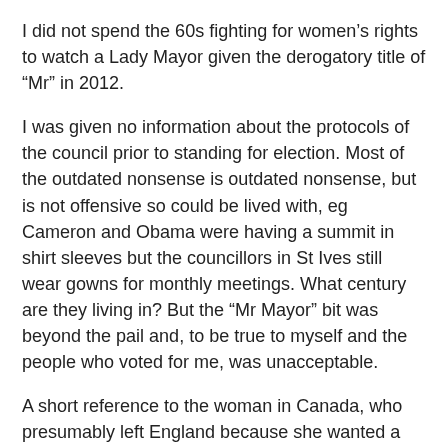I did not spend the 60s fighting for women’s rights to watch a Lady Mayor given the derogatory title of “Mr” in 2012.
I was given no information about the protocols of the council prior to standing for election. Most of the outdated nonsense is outdated nonsense, but is not offensive so could be lived with, eg Cameron and Obama were having a summit in shirt sleeves but the councillors in St Ives still wear gowns for monthly meetings. What century are they living in? But the “Mr Mayor” bit was beyond the pail and, to be true to myself and the people who voted for me, was unacceptable.
A short reference to the woman in Canada, who presumably left England because she wanted a better life elsewhere, what a cheek to comment on something she knows nothing about.